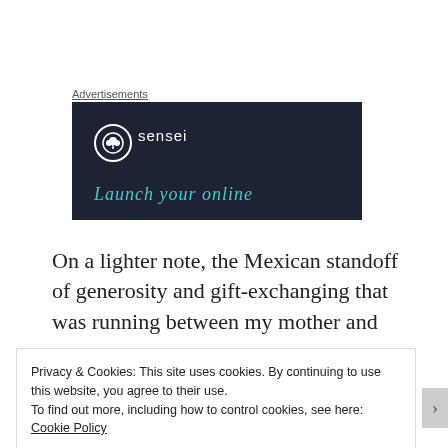Advertisements
[Figure (logo): Sensei advertisement banner with dark navy background, circular tree logo, 'sensei' text, and teal italic tagline 'Launch your online']
On a lighter note, the Mexican standoff of generosity and gift-exchanging that was running between my mother and my
Privacy & Cookies: This site uses cookies. By continuing to use this website, you agree to their use.
To find out more, including how to control cookies, see here: Cookie Policy
[Close and accept]